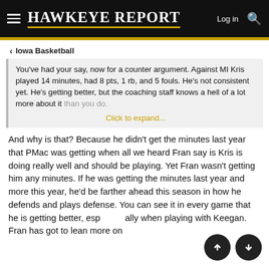HAWKEYE REPORT
Iowa Basketball
You've had your say, now for a counter argument. Against MI Kris played 14 minutes, had 8 pts, 1 rb, and 5 fouls. He's not consistent yet. He's getting better, but the coaching staff knows a hell of a lot more about it than you do.
Click to expand...
And why is that? Because he didn't get the minutes last year that PMac was getting when all we heard Fran say is Kris is doing really well and should be playing. Yet Fran wasn't getting him any minutes. If he was getting the minutes last year and more this year, he'd be farther ahead this season in how he defends and plays defense. You can see it in every game that he is getting better, especially when playing with Keegan. Fran has got to lean more on